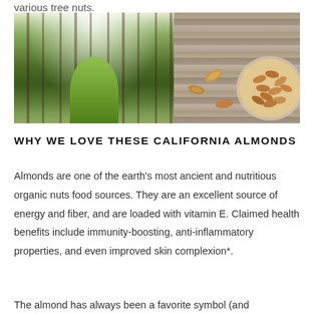various tree nuts.
[Figure (photo): Two side-by-side photos: left shows an almond orchard in bloom with rows of white-blossoming trees and a green grass path; right shows raw almonds scattered on a wooden surface with a bowl full of almonds.]
WHY WE LOVE THESE CALIFORNIA ALMONDS
Almonds are one of the earth's most ancient and nutritious organic nuts food sources. They are an excellent source of energy and fiber, and are loaded with vitamin E. Claimed health benefits include immunity-boosting, anti-inflammatory properties, and even improved skin complexion*.
The almond has always been a favorite symbol (and